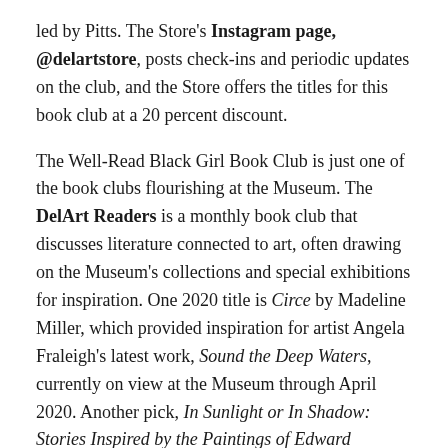led by Pitts. The Store's Instagram page, @delartstore, posts check-ins and periodic updates on the club, and the Store offers the titles for this book club at a 20 percent discount.
The Well-Read Black Girl Book Club is just one of the book clubs flourishing at the Museum. The DelArt Readers is a monthly book club that discusses literature connected to art, often drawing on the Museum's collections and special exhibitions for inspiration. One 2020 title is Circe by Madeline Miller, which provided inspiration for artist Angela Fraleigh's latest work, Sound the Deep Waters, currently on view at the Museum through April 2020. Another pick, In Sunlight or In Shadow: Stories Inspired by the Paintings of Edward Hopper, edited by Lawrence Block, features short stories by such literary heavyweights as Megan Abbott, Joyce Carol Oates, and Stephen King. A selection of DelArt Readers books will be available for purchase in the Museum Store.